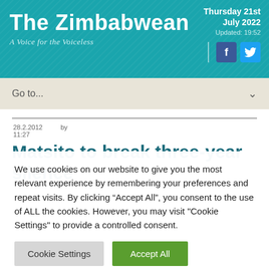The Zimbabwean
A Voice for the Voiceless
Thursday 21st July 2022
Updated: 19:52
Go to...
28.2.2012 11:27  by
Matsito to break three-year silence
We use cookies on our website to give you the most relevant experience by remembering your preferences and repeat visits. By clicking “Accept All”, you consent to the use of ALL the cookies. However, you may visit "Cookie Settings" to provide a controlled consent.
Cookie Settings  Accept All